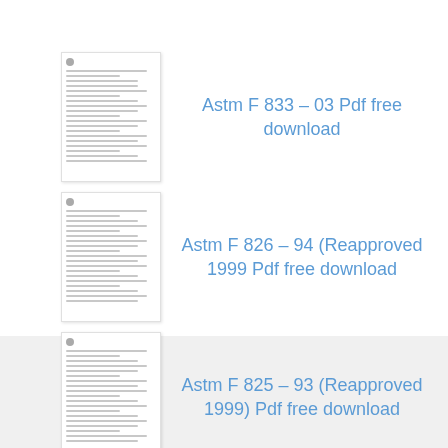[Figure (screenshot): Thumbnail of ASTM F 833-03 document page]
Astm F 833 – 03 Pdf free download
[Figure (screenshot): Thumbnail of ASTM F 826-94 document page]
Astm F 826 – 94 (Reapproved 1999 Pdf free download
[Figure (screenshot): Thumbnail of ASTM F 825-93 document page]
Astm F 825 – 93 (Reapproved 1999) Pdf free download